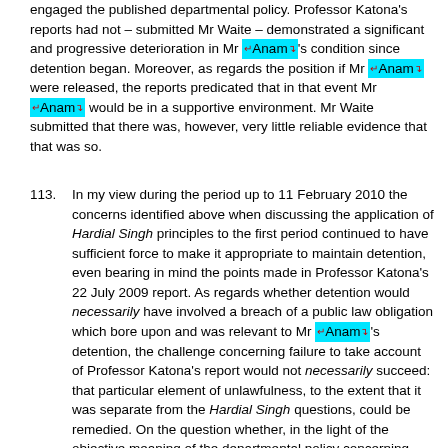engaged the published departmental policy. Professor Katona's reports had not – submitted Mr Waite – demonstrated a significant and progressive deterioration in Mr Anam's condition since detention began. Moreover, as regards the position if Mr Anam were released, the reports predicated that in that event Mr Anam would be in a supportive environment. Mr Waite submitted that there was, however, very little reliable evidence that that was so.
113. In my view during the period up to 11 February 2010 the concerns identified above when discussing the application of Hardial Singh principles to the first period continued to have sufficient force to make it appropriate to maintain detention, even bearing in mind the points made in Professor Katona's 22 July 2009 report. As regards whether detention would necessarily have involved a breach of a public law obligation which bore upon and was relevant to Mr Anam's detention, the challenge concerning failure to take account of Professor Katona's report would not necessarily succeed: that particular element of unlawfulness, to the extent that it was separate from the Hardial Singh questions, could be remedied. On the question whether, in the light of the objective meaning of the departmental policy concerning those with mental illness, the decision-maker could reasonably have concluded that detention would be